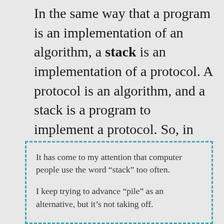In the same way that a program is an implementation of an algorithm, a stack is an implementation of a protocol. A protocol is an algorithm, and a stack is a program to implement a protocol. So, in order to run TCP/IP, our computer runs the TCP/IP stack, which implements the TCP/IP protocol.
It has come to my attention that computer people use the word “stack” too often.

I keep trying to advance “pile” as an alternative, but it’s not taking off.